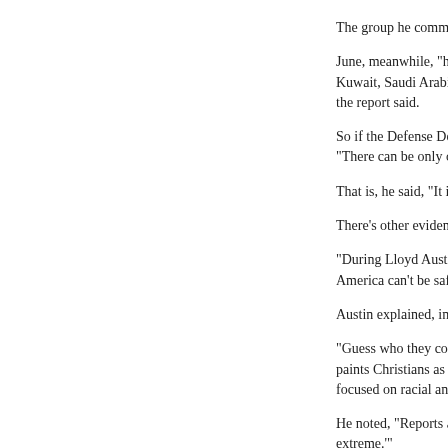The group he commands m
June, meanwhile, "has bee Kuwait, Saudi Arabia, Bulga the report said.
So if the Defense Departme "There can be only one log
That is, he said, "It is now c
There's other evidence, too
"During Lloyd Austin's confi America can't be safe from
Austin explained, in a mem
"Guess who they consider t paints Christians as white s focused on racial and religi
He noted, "Reports also rev extreme.'"
Content created by the WN provide a large audience. F
https://www.wnd.com/2022